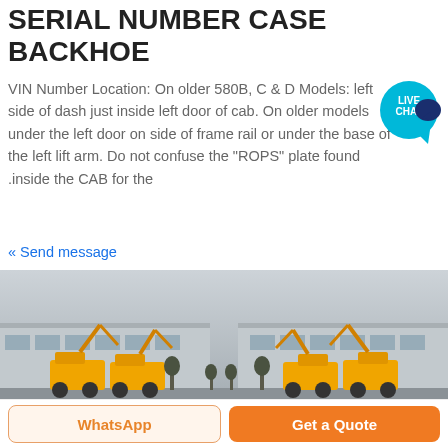SERIAL NUMBER CASE BACKHOE
VIN Number Location: On older 580B, C & D Models: left side of dash just inside left door of cab. On older models under the left door on side of frame rail or under the base of the left lift arm. Do not confuse the "ROPS" plate found .inside the CAB for the
« Send message
[Figure (photo): Outdoor photo showing yellow construction excavators/backhoes lined up in front of industrial warehouse buildings under a grey overcast sky]
WhatsApp
Get a Quote